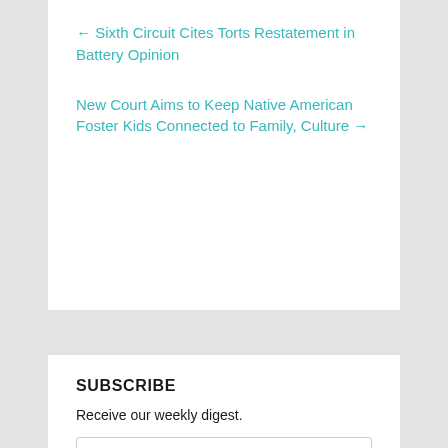← Sixth Circuit Cites Torts Restatement in Battery Opinion
New Court Aims to Keep Native American Foster Kids Connected to Family, Culture →
SUBSCRIBE
Receive our weekly digest.